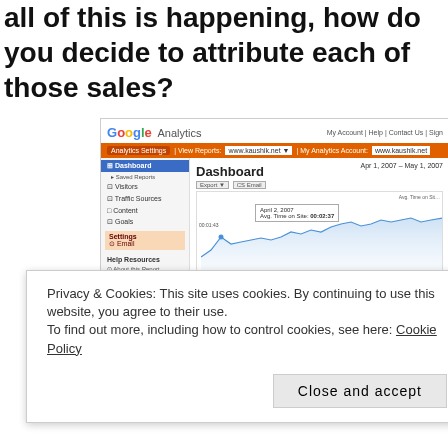all of this is happening, how do you decide to attribute each of those sales?
[Figure (screenshot): Google Analytics dashboard screenshot showing site usage metrics: 17,311 Visits, 30,080 Pageviews, 1.74 Pages/Visit, 00:02:06 Avg. Time on Site. Date range Apr 1, 2007 - May 1, 2007. A tooltip shows April 2, 2007, Avg. Time on Site: 00:02:37.]
Privacy & Cookies: This site uses cookies. By continuing to use this website, you agree to their use.
To find out more, including how to control cookies, see here: Cookie Policy